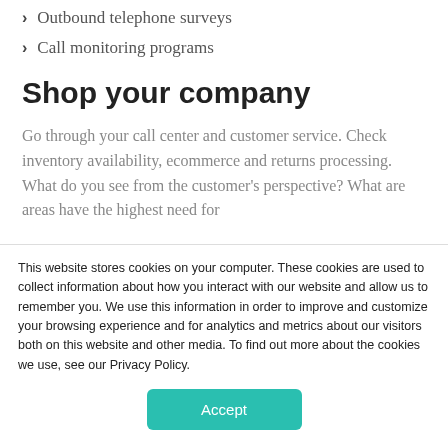Outbound telephone surveys
Call monitoring programs
Shop your company
Go through your call center and customer service. Check inventory availability, ecommerce and returns processing. What do you see from the customer's perspective? What are areas have the highest need for
This website stores cookies on your computer. These cookies are used to collect information about how you interact with our website and allow us to remember you. We use this information in order to improve and customize your browsing experience and for analytics and metrics about our visitors both on this website and other media. To find out more about the cookies we use, see our Privacy Policy.